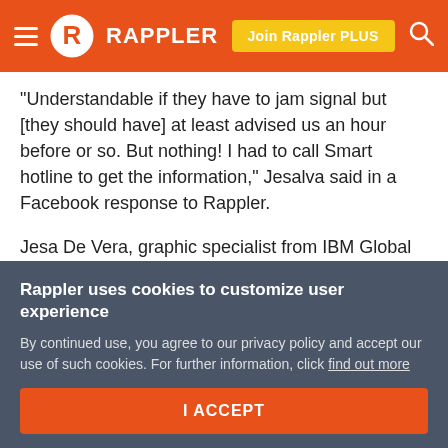RAPPLER
“Understandable if they have to jam signal but [they should have] at least advised us an hour before or so. But nothing! I had to call Smart hotline to get the information,” Jesalva said in a Facebook response to Rappler.
Jesa De Vera, graphic specialist from IBM Global Process Services and from Malabon, said her Sun Cellular network lost signal starting around 7 am as well. It was restored intermittently around 1:30 pm Friday. Access to Globe Telecom was also slow.
Rappler uses cookies to customize user experience
By continued use, you agree to our privacy policy and accept our use of such cookies. For further information, click find out more
I ACCEPT